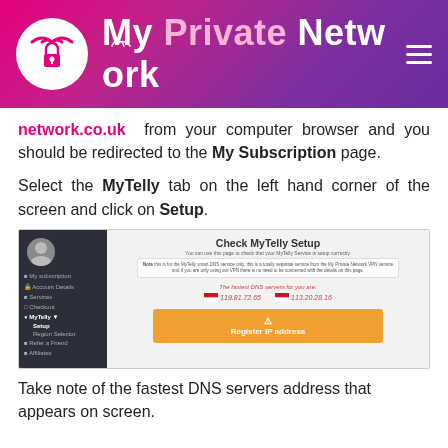My Private Network
network.co.uk from your computer browser and you should be redirected to the My Subscription page.
Select the MyTelly tab on the left hand corner of the screen and click on Setup.
[Figure (screenshot): Screenshot of the MyTelly Setup page in the My Private Network dashboard, showing sidebar navigation with MyTelly selected, and the Check MyTelly Setup panel with DNS server addresses (119.81.72.65 and 113.20.28.16) and a Register IP address button.]
Take note of the fastest DNS servers address that appears on screen.